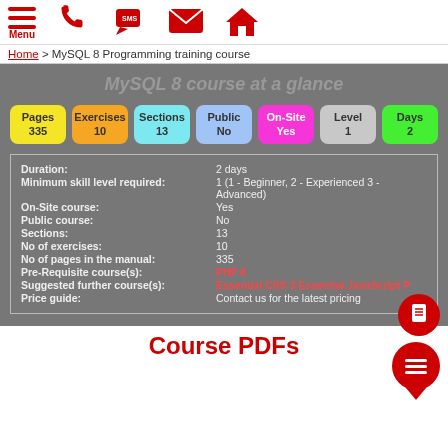[Figure (screenshot): Navigation bar with menu, phone, SMS, email, and home icons in red]
Home > MySQL 8 Programming training course
MySQL 8 course at a glance
[Figure (infographic): Colored badges: Pages 335, Exercises 10, Sections 13, Public No, On-Site Yes, Level 1, Days 2]
| Field | Value |
| --- | --- |
| Duration: | 2 days |
| Minimum skill level required: | 1 (1 - Beginner, 2 - Experienced 3 - Advanced) |
| On-Site course: | Yes |
| Public course: | No |
| Sections: | 13 |
| No of exercises: | 10 |
| No of pages in the manual: | 335 |
| Pre-Requisite course(s): | PHP 8 |
| Suggested further course(s): | Essential CSS 3 Essential JavaScript P... |
| Price guide: | Contact us for the latest pricing |
Course PDFs